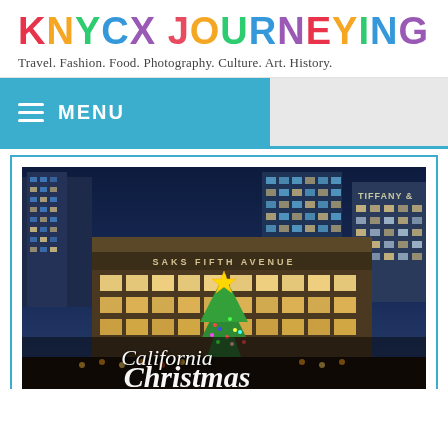KNYCX JOURNEYING
Travel. Fashion. Food. Photography. Culture. Art. History.
≡  MENU
[Figure (photo): Nighttime city skyline with Saks Fifth Avenue storefront decorated for Christmas, Christmas tree with star, skyscrapers including Tiffany & Co in background. Overlaid script text reads 'California Christmas']